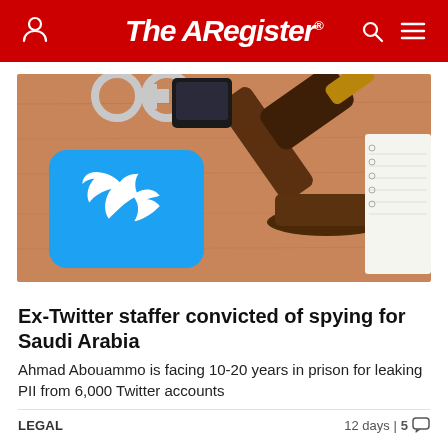The Register
[Figure (photo): Photo showing a Twitter bird logo sticker, a wooden judge's gavel, handcuffs, a smartphone, and a notepad on a wooden surface]
Ex-Twitter staffer convicted of spying for Saudi Arabia
Ahmad Abouammo is facing 10-20 years in prison for leaking PII from 6,000 Twitter accounts
LEGAL    12 days | 5